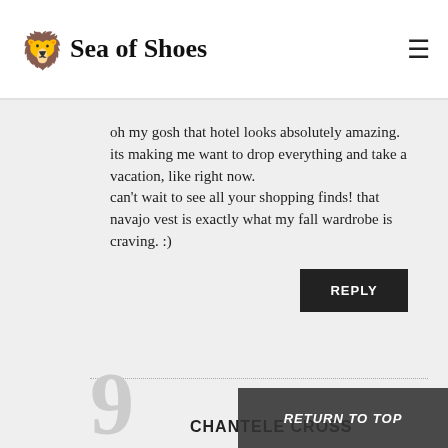Sea of Shoes
oh my gosh that hotel looks absolutely amazing. its making me want to drop everything and take a vacation, like right now.
can't wait to see all your shopping finds! that navajo vest is exactly what my fall wardrobe is craving. :)
REPLY
CHANTELE CROSS
RETURN TO TOP